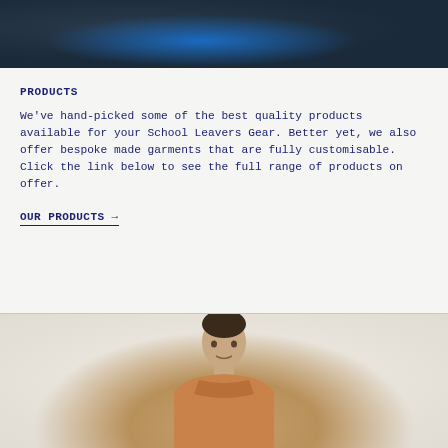[Figure (photo): Top portion showing people wearing dark clothing, blue hoodie visible, partial view cropped at top of page]
PRODUCTS
We've hand-picked some of the best quality products available for your School Leavers Gear. Better yet, we also offer bespoke made garments that are fully customisable. Click the link below to see the full range of products on offer.
OUR PRODUCTS →
[Figure (photo): Bottom portion showing a young man wearing a caramel/tan colored hoodie, cropped view from shoulders up]